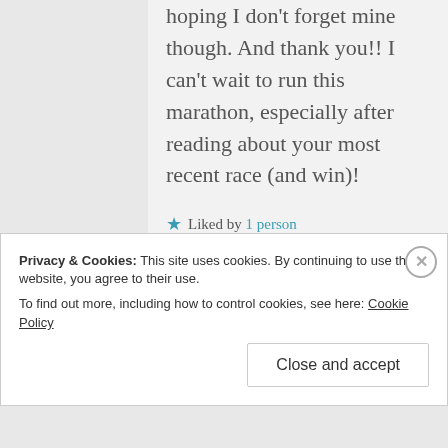hoping I don't forget mine though. And thank you!! I can't wait to run this marathon, especially after reading about your most recent race (and win)!
★ Liked by 1 person
Privacy & Cookies: This site uses cookies. By continuing to use this website, you agree to their use. To find out more, including how to control cookies, see here: Cookie Policy